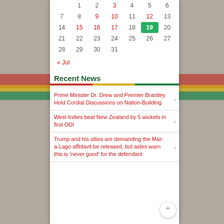| Sun | Mon | Tue | Wed | Thu | Fri | Sat |
| --- | --- | --- | --- | --- | --- | --- |
|  | 1 | 2 | 3 | 4 | 5 | 6 |
| 7 | 8 | 9 | 10 | 11 | 12 | 13 |
| 14 | 15 | 16 | 17 | 18 | 19 | 20 |
| 21 | 22 | 23 | 24 | 25 | 26 | 27 |
| 28 | 29 | 30 | 31 |  |  |  |
« Jul
Recent News
Prime Minister Dr. Drew and Premier Brantley Hold Cordial Discussions on Nation-Building
West Indies beat New Zealand by 5 wickets in first ODI
Trump and his allies are demanding the Mar-a-Lago affidavit be released, but aides warn this is 'never good' for the defendant